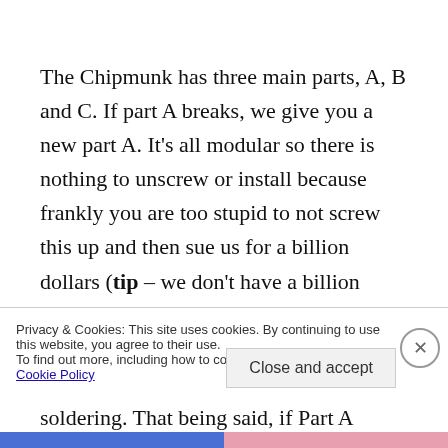The Chipmunk has three main parts, A, B and C. If part A breaks, we give you a new part A. It's all modular so there is nothing to unscrew or install because frankly you are too stupid to not screw this up and then sue us for a billion dollars (tip – we don't have a billion dollars). If we cannot get you to not use your Chipmunk as a door stop, then we aren't going to ask you to do any soldering. That being said, if Part A breaks, and Parts B
Privacy & Cookies: This site uses cookies. By continuing to use this website, you agree to their use.
To find out more, including how to control cookies, see here: Cookie Policy
Close and accept